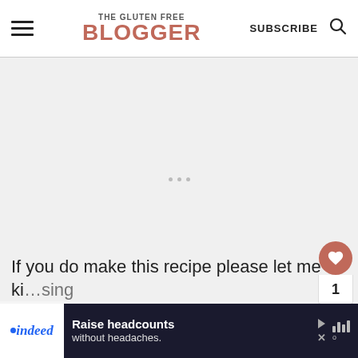THE GLUTEN FREE BLOGGER | SUBSCRIBE
[Figure (screenshot): Large blank whitish ad placeholder area with three gray dots in the center]
[Figure (infographic): Floating action buttons: heart (favorited, red), count '1', and share button]
[Figure (infographic): What's Next panel with thumbnail showing pumpkin spice spooky swis... article]
If you do make this recipe please let me ki...sing
[Figure (screenshot): Indeed advertisement banner: Raise headcounts without headaches.]